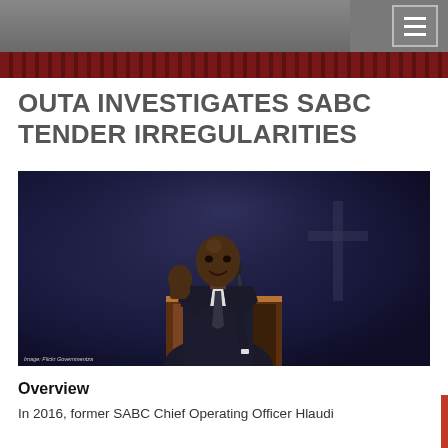OUTA INVESTIGATES SABC TENDER IRREGULARITIES
[Figure (photo): Man in dark suit speaking at a podium/lectern, raising his right fist, with a microphone in front of him. Background shows a dark purple/blue stage with a faint cross symbol. Image credit: Flickr Governmentza.]
Image: Flickr Governmentza
Overview
In 2016, former SABC Chief Operating Officer Hlaudi